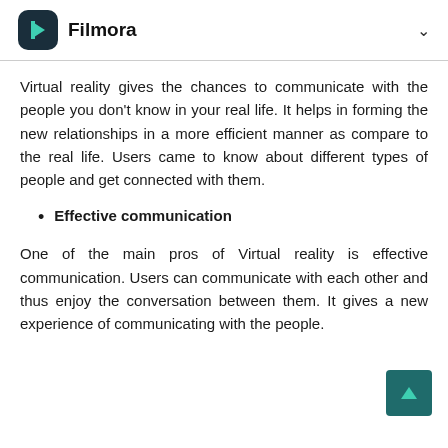Filmora
Virtual reality gives the chances to communicate with the people you don't know in your real life. It helps in forming the new relationships in a more efficient manner as compare to the real life. Users came to know about different types of people and get connected with them.
Effective communication
One of the main pros of Virtual reality is effective communication. Users can communicate with each other and thus enjoy the conversation between them. It gives a new experience of communicating with the people.